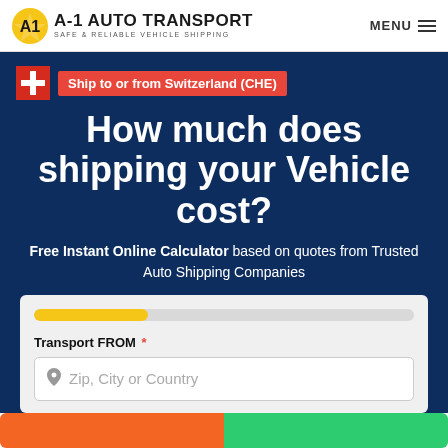A-1 AUTO TRANSPORT SAFE & RELIABLE VEHICLE SHIPPING | MENU
Ship to or from Switzerland (CHE)
How much does shipping your Vehicle cost?
Free Instant Online Calculator based on quotes from Trusted Auto Shipping Companies
Transport FROM * — Zip, City or Country